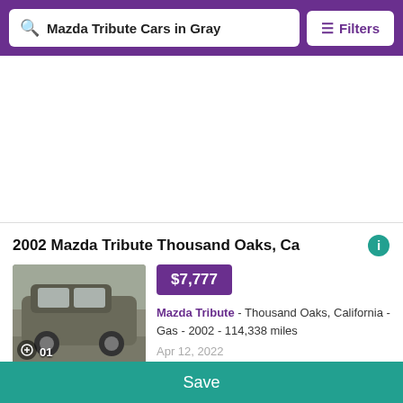Mazda Tribute Cars in Gray | Filters
[Figure (other): Advertisement / blank white space area]
2002 Mazda Tribute Thousand Oaks, Ca
[Figure (photo): Gray Mazda Tribute SUV parked outdoors, thumbnail image with photo count badge showing 01]
$7,777
Mazda Tribute - Thousand Oaks, California - Gas - 2002 - 114,338 miles
Apr 12, 2022
2008 Mazda Tribute San Diego, Ca
Save